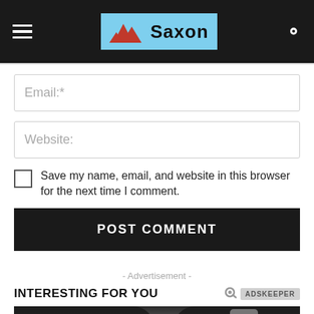[Figure (logo): Saxon website header with hamburger menu on left, Saxon mountain logo in center (light blue background with red mountain peaks and black Saxon text), and search icon on right, all on dark/black background]
Email:*
Website:
Save my name, email, and website in this browser for the next time I comment.
POST COMMENT
- Advertisement -
INTERESTING FOR YOU
[Figure (photo): Bottom portion of a photo showing people wearing dark clothing outdoors with bare tree branches visible]